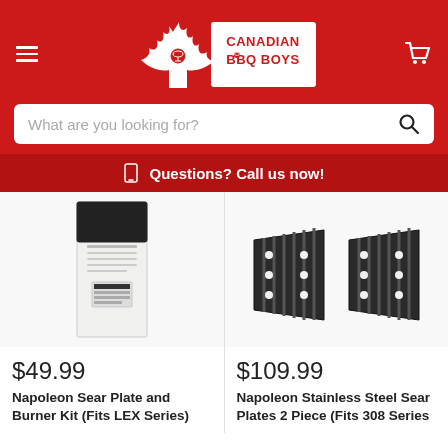Canadian BBQ Boys
What are you looking for?
Questions? Call us now!
[Figure (photo): Napoleon Sear Plate and Burner Kit product box, white/black packaging]
$49.99
Napoleon Sear Plate and Burner Kit (Fits LEX Series)
[Figure (photo): Napoleon Stainless Steel Sear Plates 2 Piece product, dark metal heat plates shown]
$109.99
Napoleon Stainless Steel Sear Plates 2 Piece (Fits 308 Series